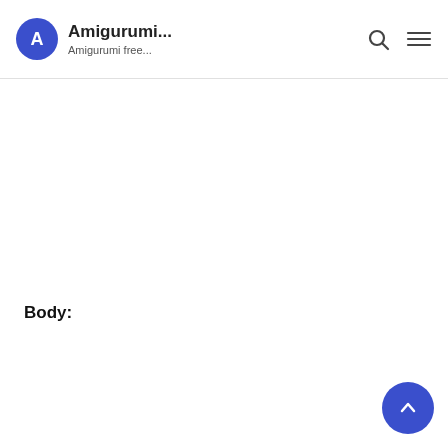Amigurumi... Amigurumi free...
Body: